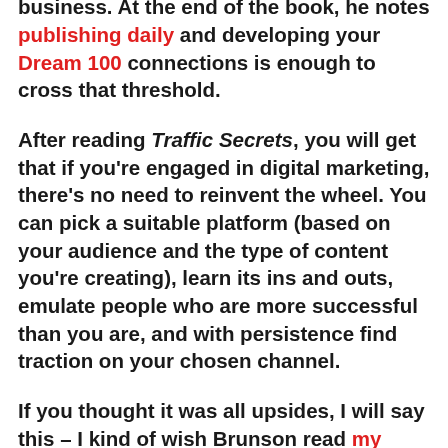and d) you only need to focus on one channel to make seven-figures in your business. At the end of the book, he notes publishing daily and developing your Dream 100 connections is enough to cross that threshold.
After reading Traffic Secrets, you will get that if you're engaged in digital marketing, there's no need to reinvent the wheel. You can pick a suitable platform (based on your audience and the type of content you're creating), learn its ins and outs, emulate people who are more successful than you are, and with persistence find traction on your chosen channel.
If you thought it was all upsides, I will say this – I kind of wish Brunson read my writing